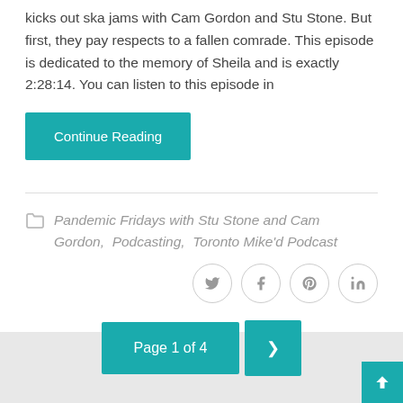kicks out ska jams with Cam Gordon and Stu Stone. But first, they pay respects to a fallen comrade. This episode is dedicated to the memory of Sheila and is exactly 2:28:14. You can listen to this episode in
Continue Reading
Pandemic Fridays with Stu Stone and Cam Gordon, Podcasting, Toronto Mike'd Podcast
Page 1 of 4 >